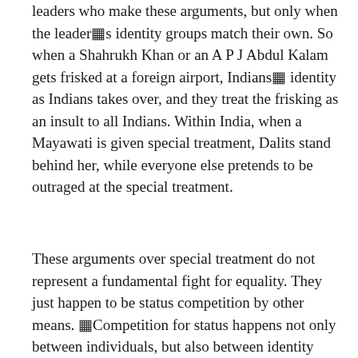leaders who make these arguments, but only when the leader�s identity groups match their own. So when a Shahrukh Khan or an A P J Abdul Kalam gets frisked at a foreign airport, Indians� identity as Indians takes over, and they treat the frisking as an insult to all Indians. Within India, when a Mayawati is given special treatment, Dalits stand behind her, while everyone else pretends to be outraged at the special treatment.
These arguments over special treatment do not represent a fundamental fight for equality. They just happen to be status competition by other means. �Competition for status happens not only between individuals, but also between identity groups – caste, religion, language, nationality, etc. The excesses of our leaders, the instances of rule-breaking and self-aggrandisement, are actually public goods that they are providing to their followers. Indians do feel genuine pride when leaders they identify